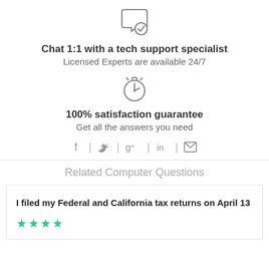[Figure (illustration): Chat bubble with checkmark icon (grey outline)]
Chat 1:1 with a tech support specialist
Licensed Experts are available 24/7
[Figure (illustration): Stopwatch/timer icon (grey outline)]
100% satisfaction guarantee
Get all the answers you need
[Figure (illustration): Social media sharing icons: Facebook, Twitter, Google+, LinkedIn, Email]
Related Computer Questions
I filed my Federal and California tax returns on April 13
[Figure (illustration): Four green star rating icons]